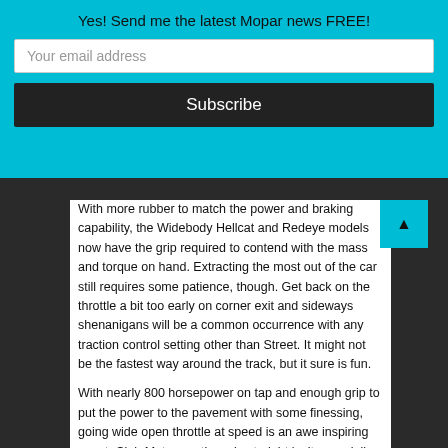Yes! Send me the latest Mopar news FREE!
Your email address
Subscribe
With more rubber to match the power and braking capability, the Widebody Hellcat and Redeye models now have the grip required to contend with the mass and torque on hand. Extracting the most out of the car still requires some patience, though. Get back on the throttle a bit too early on corner exit and sideways shenanigans will be a common occurrence with any traction control setting other than Street. It might not be the fastest way around the track, but it sure is fun.
With nearly 800 horsepower on tap and enough grip to put the power to the pavement with some finessing, going wide open throttle at speed is an awe inspiring event. Club Motorsport’s main straight isn’t especially long, but that doesn’t prevent the